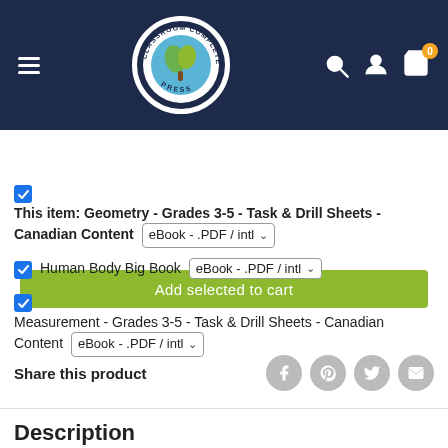[Figure (logo): Classroom Complete Press logo - circular badge with green tree/leaf design on blue globe, white border with text 'CLASSROOM COMPLETE PRESS']
Add selected to cart
This item: Geometry - Grades 3-5 - Task & Drill Sheets - Canadian Content  eBook - .PDF / intl
Human Body Big Book  eBook - .PDF / intl
Measurement - Grades 3-5 - Task & Drill Sheets - Canadian Content  eBook - .PDF / intl
Share this product
Description